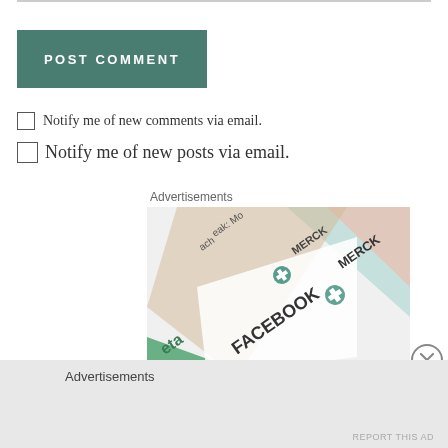[Figure (screenshot): POST COMMENT button — a teal/dark green rectangular button with white bold uppercase text 'POST COMMENT']
Notify me of new comments via email.
Notify me of new posts via email.
Advertisements
[Figure (photo): Advertisement image showing overlapping brand cards including MERCK and FACEBOOK logos at diagonal angles with light pastel colors]
[Figure (other): Close/dismiss button — circle with X inside]
Advertisements
REPORT THIS AD